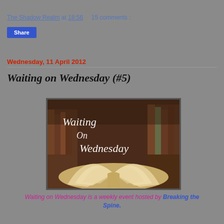The Shadow Realm at 18:56    15 comments :
Share
Wednesday, 11 April 2012
Waiting on Wednesday (#5)
[Figure (photo): Waiting on Wednesday banner image showing stacks of books and an open book with cursive text overlay reading 'Waiting On Wednesday']
Waiting on Wednesday is a weekly event hosted by Breaking the Spine.